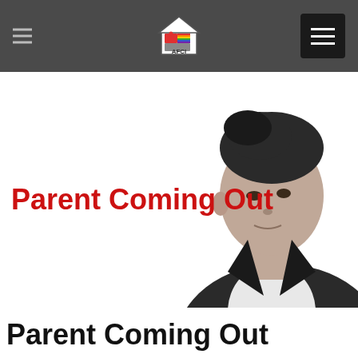[Figure (logo): AFCI logo — house shape with rainbow puzzle pieces, text 'AFCI' at bottom]
[Figure (photo): Black and white photo of a young Asian man in a blazer and white shirt, looking to the side]
Parent Coming Out
Parent Coming Out